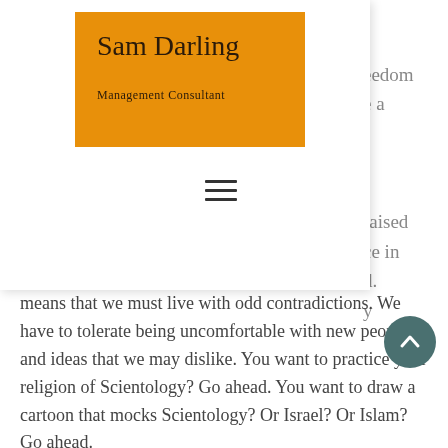[Figure (other): Orange business card for Sam Darling, Management Consultant, overlaid on a white panel]
[Figure (other): Hamburger menu icon (three horizontal lines)]
eedom
e a
raised
ce in
d.
y
means that we must live with odd contradictions. We have to tolerate being uncomfortable with new people and ideas that we may dislike. You want to practice your religion of Scientology? Go ahead. You want to draw a cartoon that mocks Scientology? Or Israel? Or Islam? Go ahead.
All mockery is welcome. The only thing we
[Figure (other): Dark teal circular scroll-to-top button with upward chevron arrow]